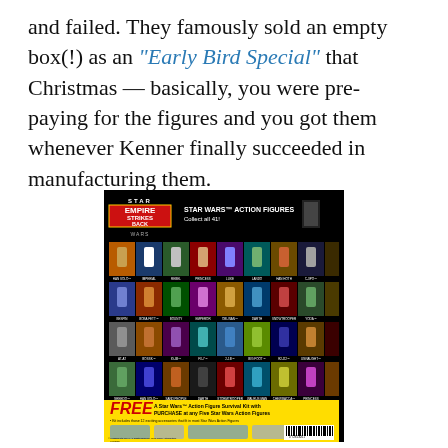and failed. They famously sold an empty box(!) as an "Early Bird Special" that Christmas — basically, you were pre-paying for the figures and you got them whenever Kenner finally succeeded in manufacturing them.
[Figure (photo): Back of a Kenner Star Wars: The Empire Strikes Back action figure card showing all 41 figures available, with a yellow bottom section advertising a free Star Wars Action Figure Survival Kit with purchase of any five Star Wars Action Figures, including accessories and a barcode.]